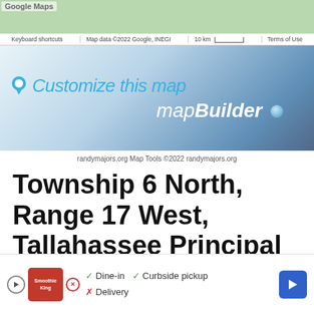[Figure (screenshot): Google Maps strip with keyboard shortcuts bar showing 'Keyboard shortcuts', 'Map data ©2022 Google, INEGI', '10 km' scale bar, and 'Terms of Use']
[Figure (screenshot): mapBuilder banner with pin icon, 'Customize this map' text in cyan, and 'mapBuilder' logo with dot on gradient background]
randymajors.org Map Tools ©2022 randymajors.org
Township 6 North, Range 17 West, Tallahassee Principal Meridian, Florida
View Township 6 North, Range 17 West, Tallahassee Principal Meridian,
[Figure (screenshot): Advertisement overlay showing Smoothie King ad with Dine-in, Curbside pickup, Delivery options and navigation arrow button]